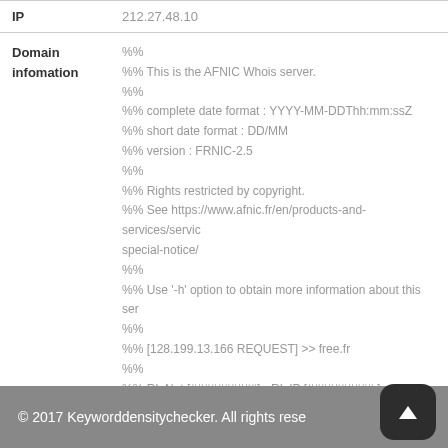| Field | Value |
| --- | --- |
| IP | 212.27.48.10 |
| Field | Value |
| --- | --- |
| Domain infomation | %% |
|  | %% This is the AFNIC Whois server. |
|  | %% |
|  | %% complete date format : YYYY-MM-DDThh:mm:ssZ |
|  | %% short date format : DD/MM |
|  | %% version : FRNIC-2.5 |
|  | %% |
|  | %% Rights restricted by copyright. |
|  | %% See https://www.afnic.fr/en/products-and-services/services/special-notice/ |
|  | %% |
|  | %% Use '-h' option to obtain more information about this ser |
|  | %% |
|  | %% [128.199.13.166 REQUEST] >> free.fr |
|  | %% |
|  | %% RL Net [##########] - RL IP [##########.] |
|  | %% |
© 2017 Keyworddensitychecker. All rights rese